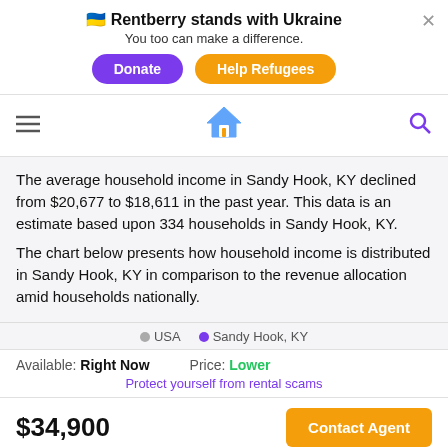🇺🇦 Rentberry stands with Ukraine
You too can make a difference.
Donate | Help Refugees
[Figure (screenshot): Rentberry website navigation bar with hamburger menu, house logo, and search icon]
The average household income in Sandy Hook, KY declined from $20,677 to $18,611 in the past year. This data is an estimate based upon 334 households in Sandy Hook, KY.
The chart below presents how household income is distributed in Sandy Hook, KY in comparison to the revenue allocation amid households nationally.
● USA  ● Sandy Hook, KY
Available: Right Now    Price: Lower
Protect yourself from rental scams
$34,900
Contact Agent